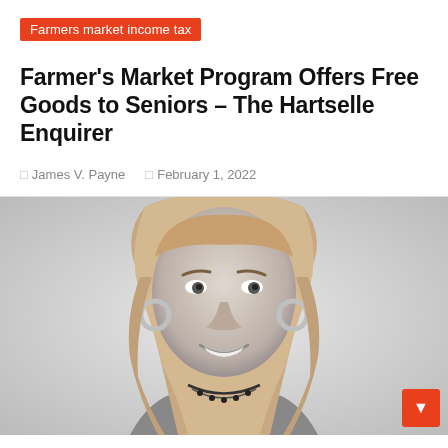Farmers market income tax
Farmer's Market Program Offers Free Goods to Seniors – The Hartselle Enquirer
James V. Payne   February 1, 2022
[Figure (photo): Black and white headshot of a smiling woman with long hair, hoop earrings, and a necklace, wearing a dark top and cardigan.]